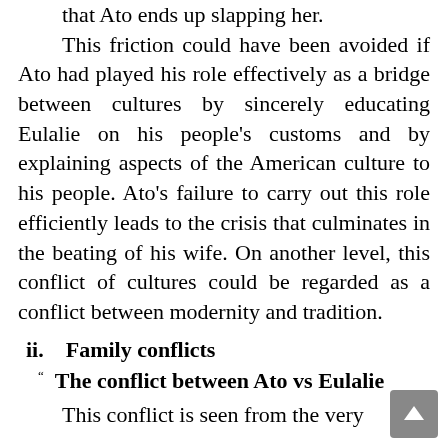that Ato ends up slapping her. This friction could have been avoided if Ato had played his role effectively as a bridge between cultures by sincerely educating Eulalie on his people's customs and by explaining aspects of the American culture to his people. Ato's failure to carry out this role efficiently leads to the crisis that culminates in the beating of his wife. On another level, this conflict of cultures could be regarded as a conflict between modernity and tradition.
ii.    Family conflicts
" The conflict between Ato vs Eulalie
This conflict is seen from the very